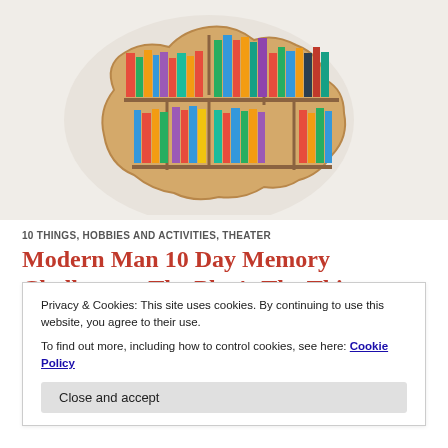[Figure (illustration): A brain-shaped wooden bookshelf filled with colorful books in various colors including red, blue, green, yellow, and orange.]
10 THINGS, HOBBIES AND ACTIVITIES, THEATER
Modern Man 10 Day Memory Challenge – The Play's The Thing
Mat recently branched off from the usual “Top 10” lists to providing a little something. And it
Privacy & Cookies: This site uses cookies. By continuing to use this website, you agree to their use.
To find out more, including how to control cookies, see here: Cookie Policy
Close and accept
KR / AUGUST 22, 2018 / LEAVE A COMMENT